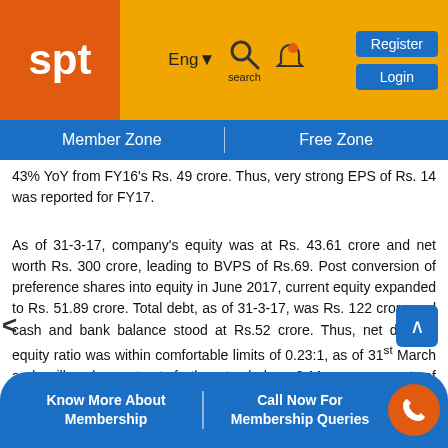spt | Eng▼ search 🔔 Register Login
Member Zone | Free Zone
43% YoY from FY16's Rs. 49 crore. Thus, very strong EPS of Rs. 14 was reported for FY17.
As of 31-3-17, company's equity was at Rs. 43.61 crore and net worth Rs. 300 crore, leading to BVPS of Rs.69. Post conversion of preference shares into equity in June 2017, current equity expanded to Rs. 51.89 crore. Total debt, as of 31-3-17, was Rs. 122 crore and cash and bank balance stood at Rs.52 crore. Thus, net debt to equity ratio was within comfortable limits of 0.23:1, as of 31st March and will only contract further to below 0.11, on account of preference share conversion and fresh issue of shares via the IPO. Thus, company's balance sheet position is strong, with a healthy return on equity (RoE) ratio of 23% and current ratio of 1.41 – two aspects which generally concern construction co...
Know More About Membership | Call Now For Membership Queries